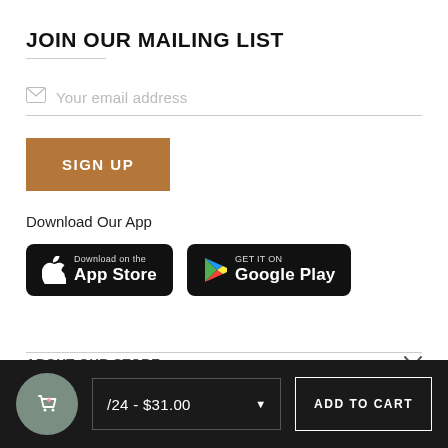JOIN OUR MAILING LIST
Your email address
SIGN UP
Download Our App
[Figure (logo): Download on the App Store button (black rounded rectangle with Apple logo)]
[Figure (logo): GET IT ON Google Play button (black rounded rectangle with Google Play triangle logo)]
ABOUT OUR STORE
/24 - $31.00
ADD TO CART